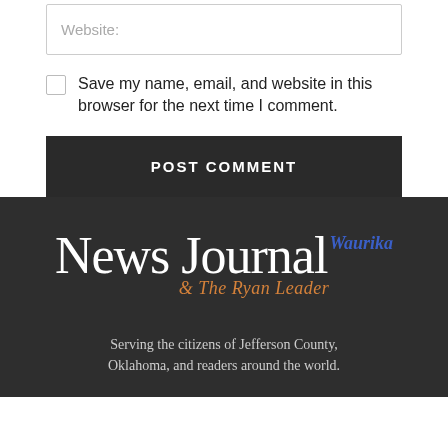Website:
Save my name, email, and website in this browser for the next time I comment.
POST COMMENT
[Figure (logo): Waurika News Journal & The Ryan Leader newspaper logo in white and orange/blue on dark background]
Serving the citizens of Jefferson County, Oklahoma, and readers around the world.